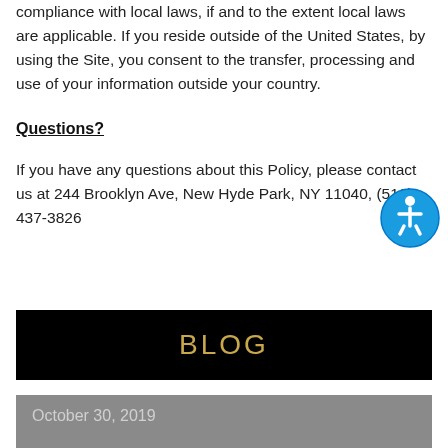compliance with local laws, if and to the extent local laws are applicable. If you reside outside of the United States, by using the Site, you consent to the transfer, processing and use of your information outside your country.
Questions?
If you have any questions about this Policy, please contact us at 244 Brooklyn Ave, New Hyde Park, NY 11040, (516) 437-3826
[Figure (illustration): Circular blue accessibility icon (wheelchair/person symbol) overlay on lower right of contact section]
BLOG
October 30, 2019